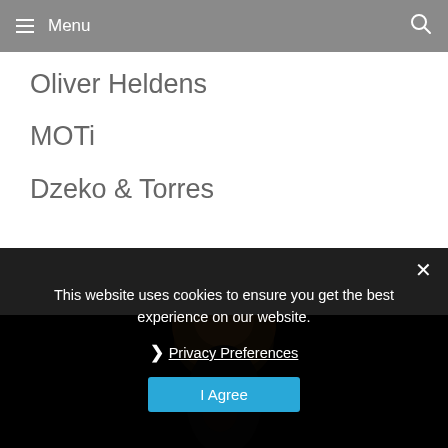Menu
Oliver Heldens
MOTi
Dzeko & Torres
[Figure (photo): Dark background with top of a person's head visible, partially illuminated]
This website uses cookies to ensure you get the best experience on our website.
❯ Privacy Preferences
I Agree